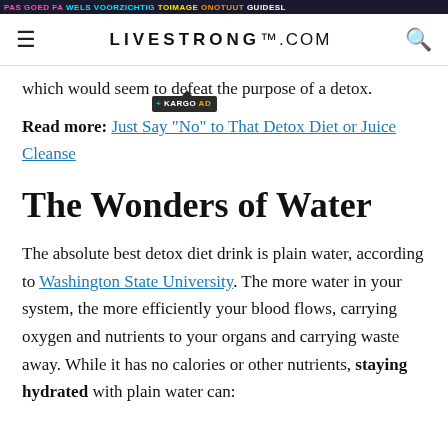PAS GOED FA WELS VOORZICHTIG TOIMAGE ONOTUUT GUIDESL
LIVESTRONG.COM
which would seem to defeat the purpose of a detox.
Read more: Just Say "No" to That Detox Diet or Juice Cleanse
The Wonders of Water
The absolute best detox diet drink is plain water, according to Washington State University. The more water in your system, the more efficiently your blood flows, carrying oxygen and nutrients to your organs and carrying waste away. While it has no calories or other nutrients, staying hydrated with plain water can: